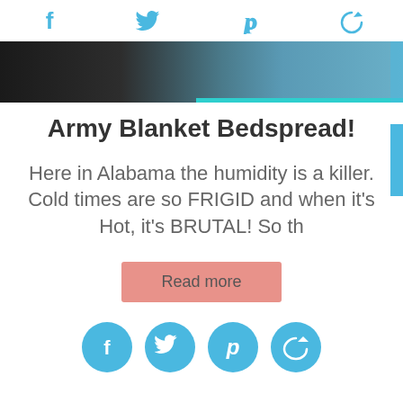[social share icons: Facebook, Twitter, Pinterest, Share]
[Figure (photo): Cropped image of army blanket/textile on a blue background, partial view at top of page]
Army Blanket Bedspread!
Here in Alabama the humidity is a killer. Cold times are so FRIGID and when it's Hot, it's BRUTAL! So th
Read more
[social share circle icons: Facebook, Twitter, Pinterest, Share]